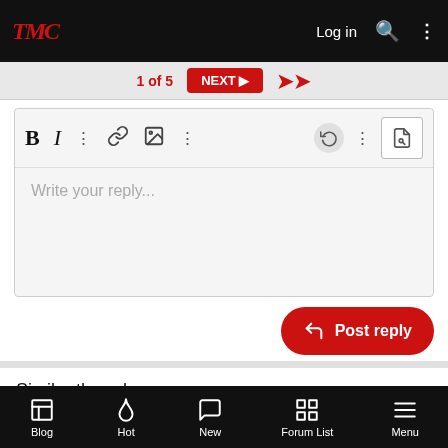TMC  Log in
1 of 5  NEXT ▶
[Figure (screenshot): Rich text editor toolbar with Bold, Italic, more options, link, image, and formatting icons, plus undo and file-search buttons. Editor body shows placeholder text 'Write your reply...']
Write your reply...
Post reply
Similar threads
Slipping in highway during winter - Regenerative
Blog  Hot  New  Forum List  Menu